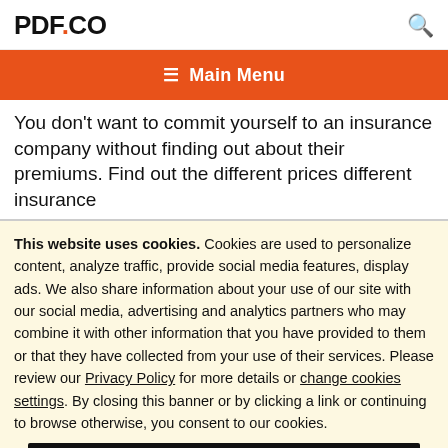PDF.CO
≡  Main Menu
You don't want to commit yourself to an insurance company without finding out about their premiums. Find out the different prices different insurance
This website uses cookies. Cookies are used to personalize content, analyze traffic, provide social media features, display ads. We also share information about your use of our site with our social media, advertising and analytics partners who may combine it with other information that you have provided to them or that they have collected from your use of their services. Please review our Privacy Policy for more details or change cookies settings. By closing this banner or by clicking a link or continuing to browse otherwise, you consent to our cookies.
OK